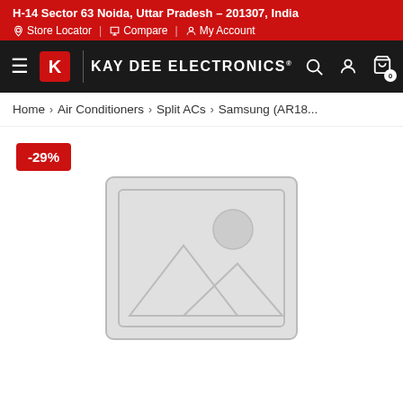H-14 Sector 63 Noida, Uttar Pradesh – 201307, India
Store Locator | Compare | My Account
Kay Dee Electronics
Home > Air Conditioners > Split ACs > Samsung (AR18...
-29%
[Figure (illustration): Placeholder product image showing a generic image icon with mountain and sun silhouette inside a rounded rectangle border]